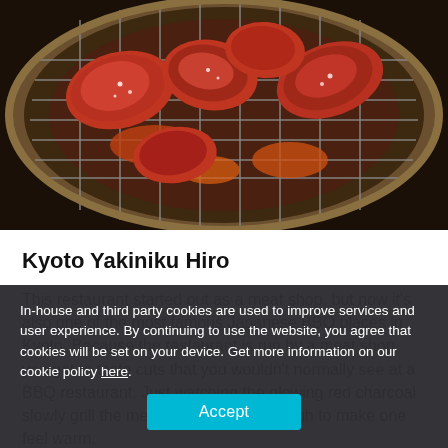[Figure (photo): Meat pieces cooking on a round charcoal BBQ grill with glowing embers, viewed from above]
Kyoto Yakiniku Hiro
This restaurant started out as a meat shop, but now it's also one of the most famous Japanese BBQ places in Kyoto. Because the restaurant is run by a meat shop, you get to taste cuts that you wouldn't normally see at a BBQ restaurant. Just watching the glowing red charcoal slowly grill the meat on the grill is enough to make one feel warm.
[Figure (photo): Japanese BBQ food items including vegetables in a pan, partially visible at bottom of page]
In-house and third party cookies are used to improve services and user experience. By continuing to use the website, you agree that cookies will be set on your device. Get more information on our cookie policy here.